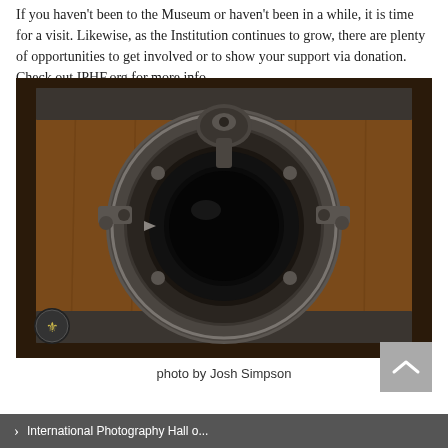If you haven't been to the Museum or haven't been in a while, it is time for a visit. Likewise, as the Institution continues to grow, there are plenty of opportunities to get involved or to show your support via donation.  Check out IPHF.org for more info.
[Figure (photo): Close-up photograph of an antique camera lens mounted on a wooden cabinet. The lens assembly is circular with metallic fittings, brackets, and a central dark concave element. A small circular logo with a fleur-de-lis appears in the bottom left corner of the image.]
photo by Josh Simpson
International Photography Hall o...